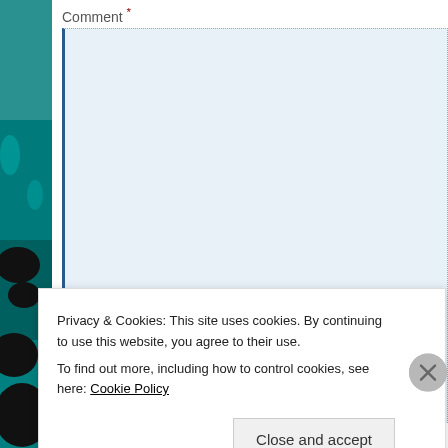[Figure (illustration): Left side decorative strip with teal/green background and black blob shapes]
Comment *
[Figure (screenshot): Large comment textarea with light blue background and dotted border with blue left border]
Name *
[Figure (screenshot): Name input field with light blue background and dotted border with blue left border]
Privacy & Cookies: This site uses cookies. By continuing to use this website, you agree to their use.
To find out more, including how to control cookies, see here: Cookie Policy